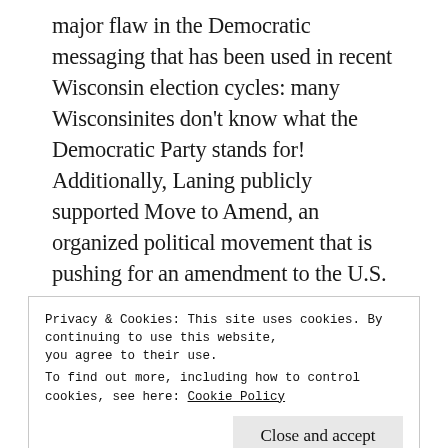major flaw in the Democratic messaging that has been used in recent Wisconsin election cycles: many Wisconsinites don't know what the Democratic Party stands for! Additionally, Laning publicly supported Move to Amend, an organized political movement that is pushing for an amendment to the U.S. Constitution designed to remove the undue influence of money from our nation's political system, and, to my pleasant surprise, sharply criticized a state tax break for Wisconsin manufacturers that all but eliminated taxes on Wisconsin manufacturers, even emphasizing how tax revenue funds things that are commonplace in
Privacy & Cookies: This site uses cookies. By continuing to use this website, you agree to their use.
To find out more, including how to control cookies, see here: Cookie Policy
least consider running for Governor of Wisconsin as a